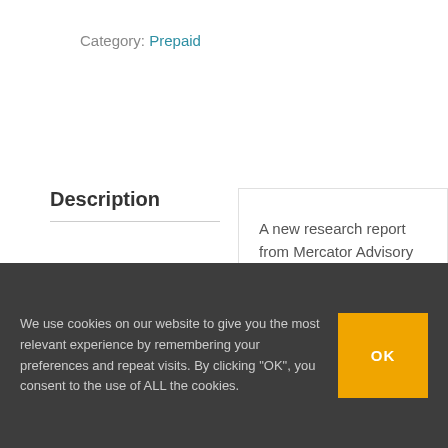Category: Prepaid
Description
A new research report from Mercator Advisory Group, Transit and Tolls: New Tracks for Growth in Prepaid in the U.S., examines how prepaid payments are displacing
We use cookies on our website to give you the most relevant experience by remembering your preferences and repeat visits. By clicking "OK", you consent to the use of ALL the cookies.